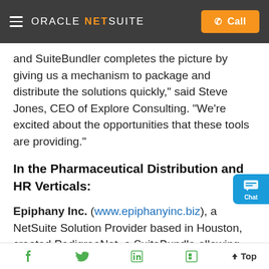ORACLE NETSUITE — Call
and SuiteBundler completes the picture by giving us a mechanism to package and distribute the solutions quickly," said Steve Jones, CEO of Explore Consulting. "We're excited about the opportunities that these tools are providing."
In the Pharmaceutical Distribution and HR Verticals:
Epiphany Inc. (www.epiphanyinc.biz), a NetSuite Solution Provider based in Houston, created PedigreeNet, a SuiteBundle allowing pharmaceutical distributors to track the origin of the drugs ordered and add their information to the pedigree when the
f  Twitter  in  Flipboard  Top